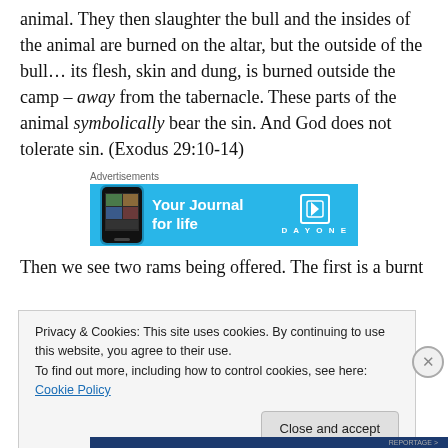animal. They then slaughter the bull and the insides of the animal are burned on the altar, but the outside of the bull… its flesh, skin and dung, is burned outside the camp – away from the tabernacle. These parts of the animal symbolically bear the sin. And God does not tolerate sin. (Exodus 29:10-14)
[Figure (screenshot): Advertisement banner for DayOne journal app with phone mockup. Text: 'Your Journal for life' with DAYONE branding on a blue background.]
Then we see two rams being offered. The first is a burnt
Privacy & Cookies: This site uses cookies. By continuing to use this website, you agree to their use.
To find out more, including how to control cookies, see here: Cookie Policy